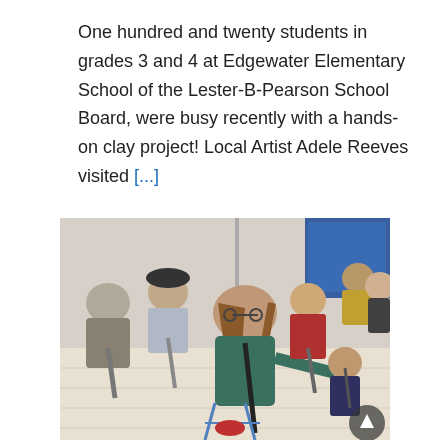One hundred and twenty students in grades 3 and 4 at Edgewater Elementary School of the Lester-B-Pearson School Board, were busy recently with a hands-on clay project! Local Artist Adele Reeves visited [...]
[Figure (photo): Students in a classroom sitting in a circle playing clarinets, with a teacher/instructor in the foreground demonstrating how to play.]